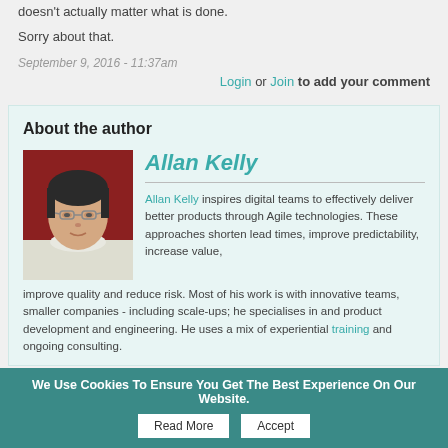doesn't actually matter what is done.
Sorry about that.
September 9, 2016 - 11:37am
Login or Join to add your comment
About the author
[Figure (photo): Headshot of Allan Kelly, a middle-aged man with glasses and dark hair, wearing a white shirt, against a dark red background.]
Allan Kelly
Allan Kelly inspires digital teams to effectively deliver better products through Agile technologies. These approaches shorten lead times, improve predictability, increase value, improve quality and reduce risk. Most of his work is with innovative teams, smaller companies - including scale-ups; he specialises in and product development and engineering. He uses a mix of experiential training and ongoing consulting.
We Use Cookies To Ensure You Get The Best Experience On Our Website.